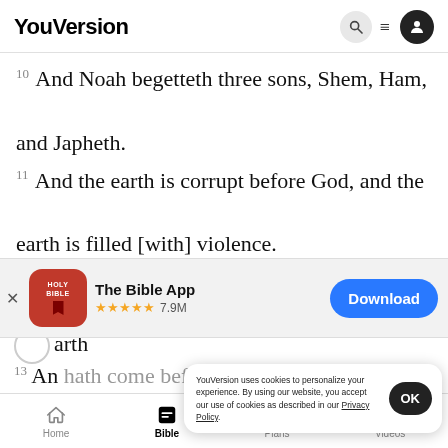YouVersion
10 And Noah begetteth three sons, Shem, Ham, and Japheth.
11 And the earth is corrupt before God, and the earth is filled [with] violence.
[Figure (screenshot): App download banner for The Bible App with 5-star rating of 7.9M and Download button]
13 An... hath come before Me, for the earth hath been full
YouVersion uses cookies to personalize your experience. By using our website, you accept our use of cookies as described in our Privacy Policy.
Home | Bible | Plans | Videos